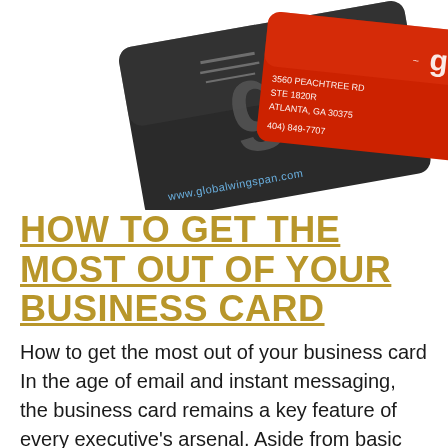[Figure (photo): Two business cards from GlobalWingspan. One is dark/black with a stylized 'g' logo and the URL www.globalwingspan.com. The other is red with a white winged 'g' logo, an address (3560 Peachtree Rd, Ste 1820R, Atlanta, GA 30375), and a phone number (404) 849-7707.]
HOW TO GET THE MOST OUT OF YOUR BUSINESS CARD
How to get the most out of your business card In the age of email and instant messaging, the business card remains a key feature of every executive's arsenal. Aside from basic contact details, they can impress recipients, give an image about a company and be useful information tools